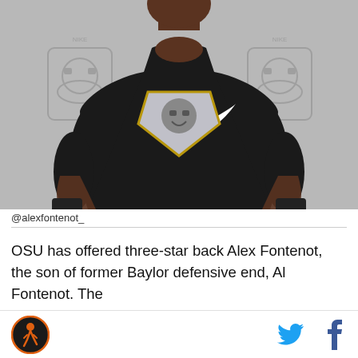[Figure (photo): Young Black male athlete wearing a black Nike compression shirt with a metallic shield/helmet graphic on the chest, standing in front of a grey backdrop with repeated skull/helmet logo motifs. Photo is cropped at the waist upward.]
@alexfontenot_
OSU has offered three-star back Alex Fontenot, the son of former Baylor defensive end, Al Fontenot. The
[Figure (logo): Circular orange logo with dark background and athlete figure in center — sports media brand logo]
[Figure (logo): Twitter bird icon in cyan/blue]
[Figure (logo): Facebook 'f' icon in dark blue]